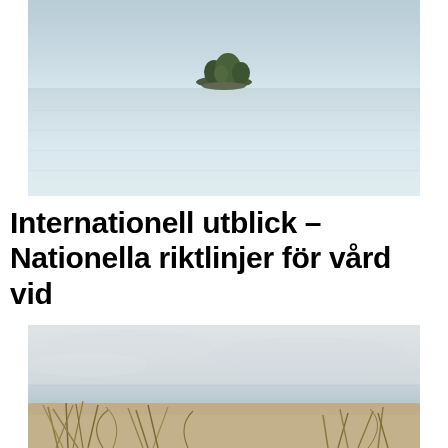[Figure (photo): Long-exposure seascape photograph showing calm, silky water with a small tree-covered island in the center distance under a pale blue-grey sky.]
Internationell utblick – Nationella riktlinjer för vård vid
[Figure (photo): Coastal landscape photograph showing sandy beach with golden dune grass in the foreground, calm grey sea and overcast sky in the background.]